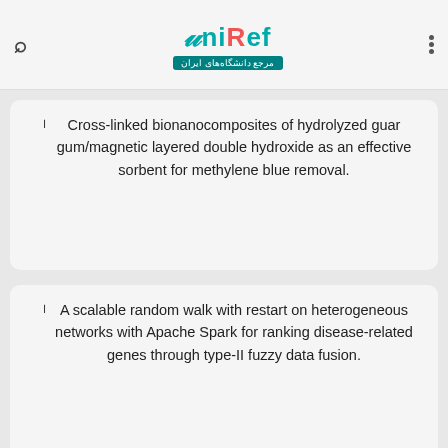[Figure (screenshot): UniRef app logo — teal and grey text with Arabic subtitle on dark teal background, flanked by search icon and vertical dots menu]
Cross-linked bionanocomposites of hydrolyzed guar gum/magnetic layered double hydroxide as an effective sorbent for methylene blue removal.
A scalable random walk with restart on heterogeneous networks with Apache Spark for ranking disease-related genes through type-II fuzzy data fusion.